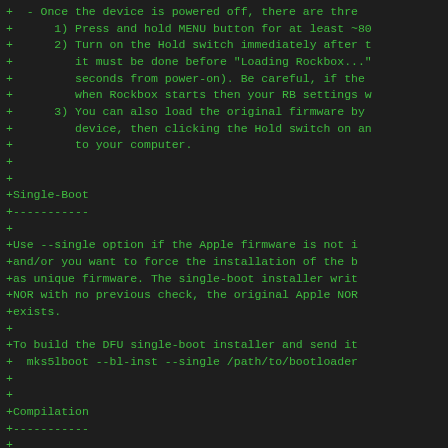+  - Once the device is powered off, there are thre
+      1) Press and hold MENU button for at least ~80
+      2) Turn on the Hold switch immediately after t
+         it must be done before "Loading Rockbox..."
+         seconds from power-on). Be careful, if the
+         when Rockbox starts then your RB settings w
+      3) You can also load the original firmware by
+         device, then clicking the Hold switch on an
+         to your computer.
+
+
+Single-Boot
+-----------
+
+Use --single option if the Apple firmware is not i
+and/or you want to force the installation of the b
+as unique firmware. The single-boot installer writ
+NOR with no previous check, the original Apple NOR
+exists.
+
+To build the DFU single-boot installer and send it
+  mks5lboot --bl-inst --single /path/to/bootloader
+
+
+Compilation
+-----------
+
+Needs libusb > 1.0 installed, tested on:
+
+Linux: gcc-4.9.2 + libusb-1.0.19